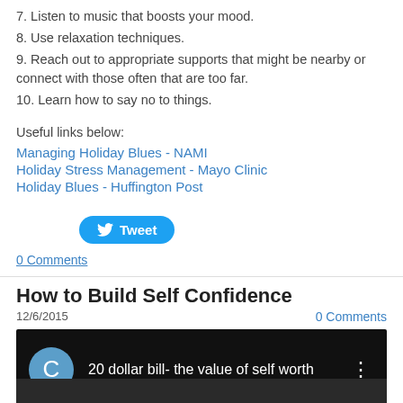7. Listen to music that boosts your mood.
8. Use relaxation techniques.
9. Reach out to appropriate supports that might be nearby or connect with those often that are too far.
10. Learn how to say no to things.
Useful links below:
Managing Holiday Blues - NAMI
Holiday Stress Management - Mayo Clinic
Holiday Blues - Huffington Post
Tweet
0 Comments
How to Build Self Confidence
12/6/2015
0 Comments
[Figure (screenshot): YouTube video thumbnail showing '20 dollar bill- the value of self worth' with a gray avatar circle with letter C and a three-dot menu icon on a dark background]